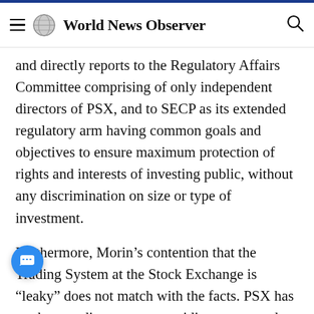World News Observer
and directly reports to the Regulatory Affairs Committee comprising of only independent directors of PSX, and to SECP as its extended regulatory arm having common goals and objectives to ensure maximum protection of rights and interests of investing public, without any discrimination on size or type of investment.
Furthermore, Morin’s contention that the Trading System at the Stock Exchange is “leaky” does not match with the facts. PSX has a robust trading system providing automated trading solutions, fully integrated with the National Clearing Settlement System and Central Deposita…